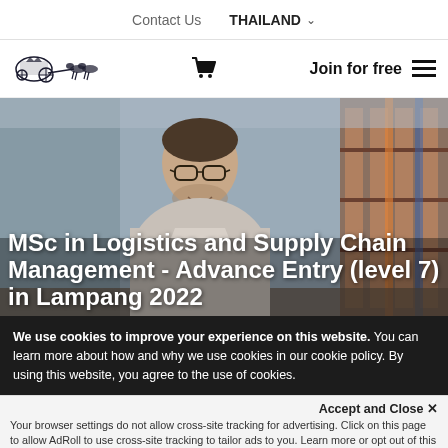Contact Us   THAILAND ▾
[Figure (logo): Stagecoach/carriage logo with horses, cart icon, Join for free text, hamburger menu]
[Figure (photo): Man with glasses smiling in a warehouse/logistics environment, serving as hero banner background]
MSc in Logistics and Supply Chain Management - Advance Entry (level 7) in Lampang 2022
We use cookies to improve your experience on this website. You can learn more about how and why we use cookies in our cookie policy. By using this website, you agree to the use of cookies.
Accept and Close ×
Your browser settings do not allow cross-site tracking for advertising. Click on this page to allow AdRoll to use cross-site tracking to tailor ads to you. Learn more or opt out of this AdRoll tracking by clicking here. This message only appears once.